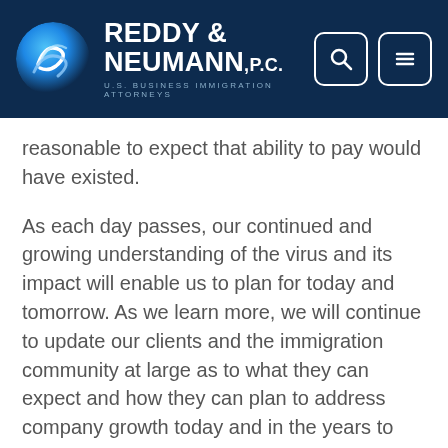REDDY & NEUMANN, P.C. — U.S. BUSINESS IMMIGRATION ATTORNEYS
reasonable to expect that ability to pay would have existed.
As each day passes, our continued and growing understanding of the virus and its impact will enable us to plan for today and tomorrow. As we learn more, we will continue to update our clients and the immigration community at large as to what they can expect and how they can plan to address company growth today and in the years to come.
By Ryan Wilck